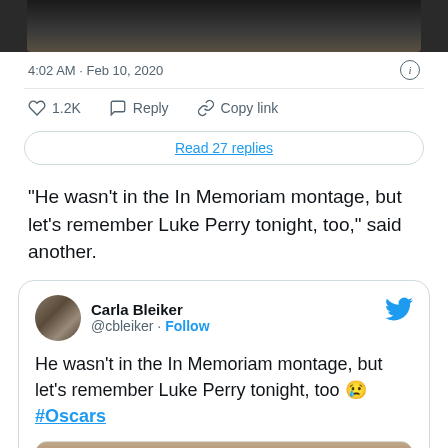[Figure (photo): Bottom portion of a photo showing two people, cropped at the top of the page]
4:02 AM · Feb 10, 2020
1.2K   Reply   Copy link
Read 27 replies
"He wasn't in the In Memoriam montage, but let's remember Luke Perry tonight, too," said another.
[Figure (screenshot): Tweet from Carla Bleiker (@cbleiker) with Follow link and Twitter bird icon. Tweet text: He wasn't in the In Memoriam montage, but let's remember Luke Perry tonight, too 😢 #Oscars. Contains embedded image with Watch on Twitter badge.]